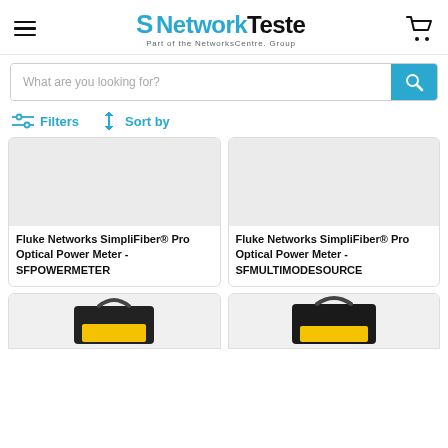NetworkTesters. Part of the NetworksCentre. Group
What are you looking for?
Filters  Sort by
Fluke Networks SimpliFiber® Pro Optical Power Meter - SFPOWERMETER
Fluke Networks SimpliFiber® Pro Optical Power Meter - SFMULTIMODESOURCE